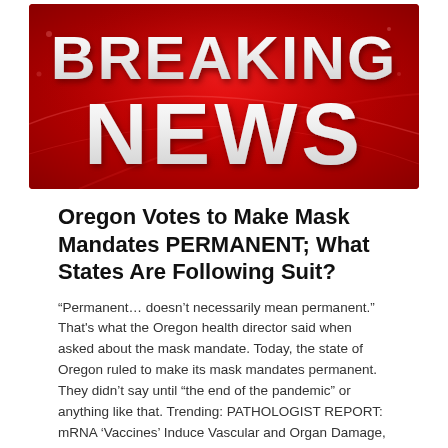[Figure (photo): Breaking News banner image with large bold white text 'BREAKING NEWS' on a red background with dramatic lighting]
Oregon Votes to Make Mask Mandates PERMANENT; What States Are Following Suit?
“Permanent… doesn’t necessarily mean permanent.” That's what the Oregon health director said when asked about the mask mandate. Today, the state of Oregon ruled to make its mask mandates permanent. They didn’t say until “the end of the pandemic” or anything like that. Trending: PATHOLOGIST REPORT: mRNA ‘Vaccines’ Induce Vascular and Organ Damage, Irrefutable Proof …
Continue reading